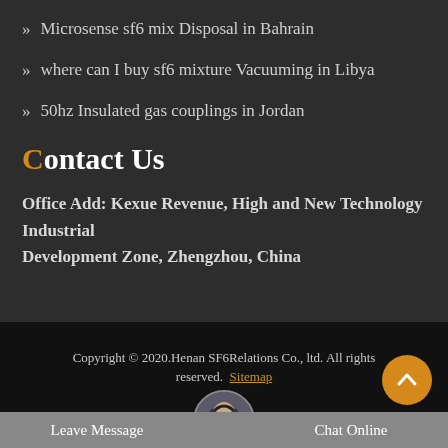Microsense sf6 mix Disposal in Bahrain
where can I buy sf6 mixture Vacuuming in Libya
50hz Insulated gas couplings in Jordan
Contact Us
Office Add: Kexue Revenue, High and New Technology Industrial Development Zone, Zhengzhou, China
Copyright © 2020.Henan SF6Relations Co., ltd. All rights reserved. Sitemap
Leave Message
Chat Online